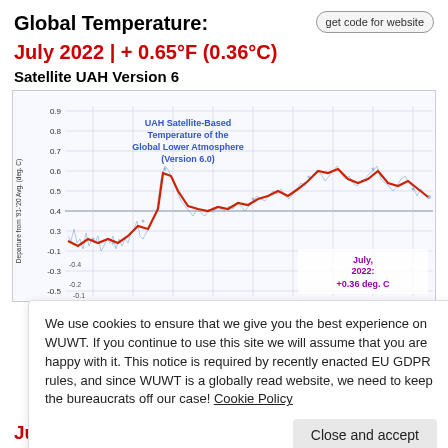Global Temperature:
July 2022 | + 0.65°F (0.36°C)
Satellite UAH Version 6
[Figure (continuous-plot): UAH Satellite-Based Temperature of the Global Lower Atmosphere (Version 6.0). Time series from approximately 1979 to 2022. Y-axis: Departure from '91-'20 Avg. (deg. C), range from about -0.5 to 0.9. Blue scatter points with red smoothed trend line. Annotation: July, 2022: +0.36 deg. C]
We use cookies to ensure that we give you the best experience on WUWT. If you continue to use this site we will assume that you are happy with it. This notice is required by recently enacted EU GDPR rules, and since WUWT is a globally read website, we need to keep the bureaucrats off our case! Cookie Policy
Close and accept
July 2022 | + 2.03°F (1.13°C)